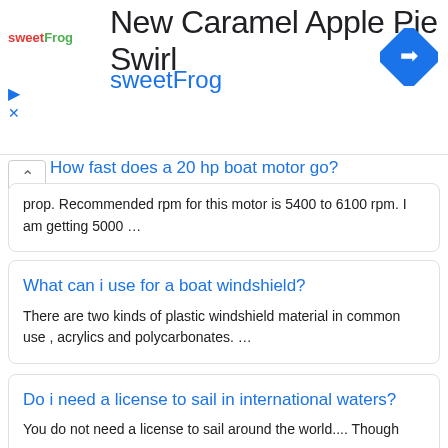[Figure (screenshot): Ad banner for sweetFrog frozen yogurt featuring 'New Caramel Apple Pie Swirl' text, sweetFrog logo, play and close controls, and a blue navigation icon]
How fast does a 20 hp boat motor go?
prop. Recommended rpm for this motor is 5400 to 6100 rpm. I am getting 5000 …
What can i use for a boat windshield?
There are two kinds of plastic windshield material in common use , acrylics and polycarbonates. …
Do i need a license to sail in international waters?
You do not need a license to sail around the world.... Though many …